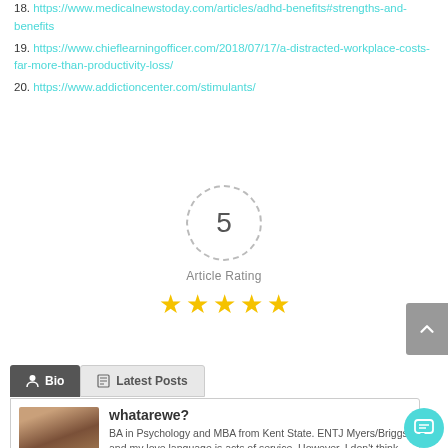18. https://www.medicalnewstoday.com/articles/adhd-benefits#strengths-and-benefits
19. https://www.chieflearningofficer.com/2018/07/17/a-distracted-workplace-costs-far-more-than-productivity-loss/
20. https://www.addictioncenter.com/stimulants/
[Figure (infographic): Article rating widget showing the number 5 inside a dashed circle, 'Article Rating' label below, and 5 gold stars]
Bio | Latest Posts
whatarewe?
BA in Psychology and MBA from Kent State. ENTJ Myers/Briggs and my love language is acts of service. However, I don't think any...